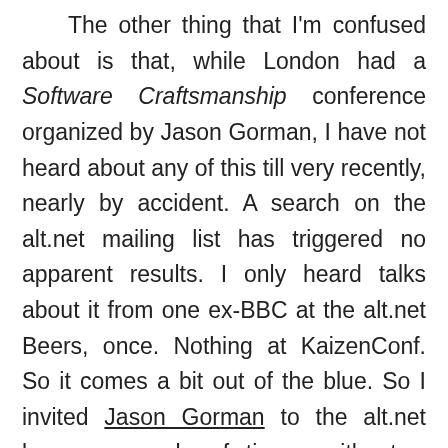The other thing that I'm confused about is that, while London had a Software Craftsmanship conference organized by Jason Gorman, I have not heard about any of this till very recently, nearly by accident. A search on the alt.net mailing list has triggered no apparent results. I only heard talks about it from one ex-BBC at the alt.net Beers, once. Nothing at KaizenConf. So it comes a bit out of the blue. So I invited Jason Gorman to the alt.net beers a couple of times, without a response. Let me reformulate the invite once more on this blog. Jason, come and explain to us why Software Craftsmanship is important and why we should care about the manifesto. I'll even give a theme to the evening so we can discuss it for the full hour. Finally, there are scents of local optima in the